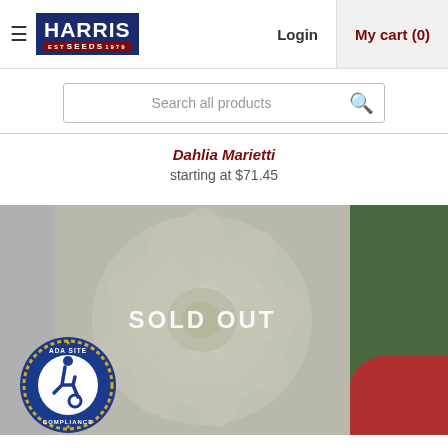Harris Seeds — Login — My cart (0)
Search all products
Dahlia Marietti
starting at $71.45
[Figure (photo): A white dahlia flower with a SOLD OUT overlay, partially overlaid by the next product image (green leaves/red flower) on the right.]
[Figure (logo): ADA Site Compliance badge — blue circle with gold dashed border, wheelchair accessibility icon, text 'ADA SITE COMPLIANCE']